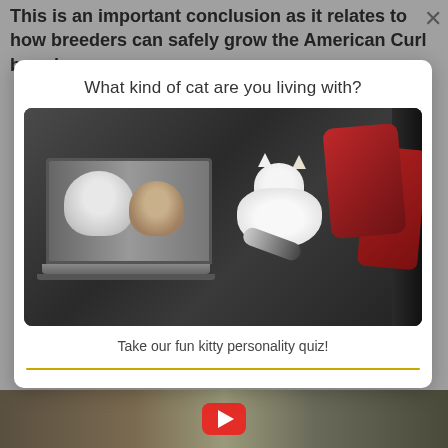This is an important conclusion as it relates to how breeders can safely grow the American Curl breed.
What kind of cat are you living with?
[Figure (photo): A white fluffy cat sitting on a dark leather sofa next to an open laptop. The laptop screen shows images of cats. Red decorative pillows are visible on the right side of the sofa.]
Take our fun kitty personality quiz!
[Figure (screenshot): Bottom portion of page showing a YouTube video thumbnail with a red play button, featuring cats in the background.]